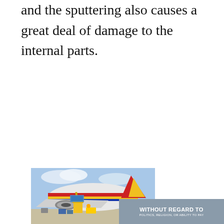and the sputtering also causes a great deal of damage to the internal parts.
[Figure (photo): Cargo being loaded onto a large commercial aircraft (appears to be an American Airlines or similar livery jet with red, yellow, and blue stripes) on an airport tarmac. Workers and loading equipment visible. Partially overlaid by a dark gray banner with text.]